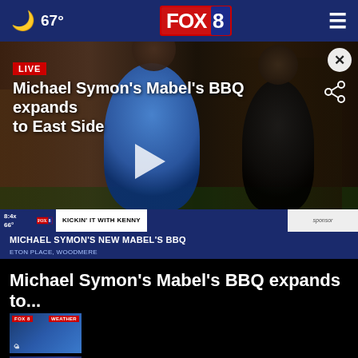67° FOX 8
[Figure (screenshot): FOX 8 news video thumbnail showing Michael Symon's Mabel's BBQ expands to East Side. Live badge, two people in a restaurant/bar setting, play button overlay. Chyron reads: KICKIN' IT WITH KENNY / MICHAEL SYMON'S NEW MABEL'S BBQ / ETON PLACE, WOODMERE. Timestamp 8:4x 66°.]
Michael Symon's Mabel's BBQ expands to...
[Figure (screenshot): Small weather thumbnail with WEATHER badge]
[Figure (screenshot): Small FOX 8 thumbnail with NXT 24 HOURS label]
Friday Clickable Weather